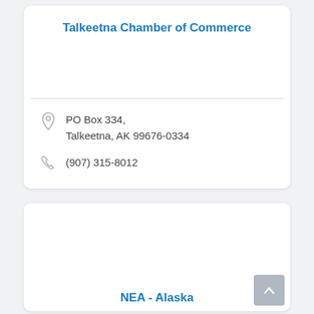Talkeetna Chamber of Commerce
PO Box 334, Talkeetna, AK 99676-0334
(907) 315-8012
NEA - Alaska